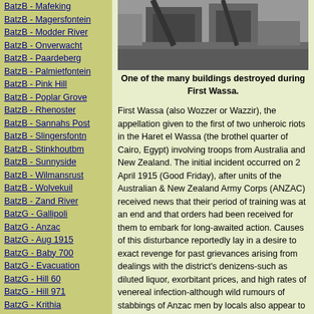BatzB - Mafeking
BatzB - Magersfontein
BatzB - Modder River
BatzB - Onverwacht
BatzB - Paardeberg
BatzB - Palmietfontein
BatzB - Pink Hill
BatzB - Poplar Grove
BatzB - Rhenoster
BatzB - Sannahs Post
BatzB - Slingersfontn
BatzB - Stinkhoutbm
BatzB - Sunnyside
BatzB - Wilmansrust
BatzB - Wolvekuil
BatzB - Zand River
BatzG - Gallipoli
BatzG - Anzac
BatzG - Aug 1915
BatzG - Baby 700
BatzG - Evacuation
BatzG - Hill 60
BatzG - Hill 971
BatzG - Krithia
BatzG - Lone Pine
BatzG - Nek
BatzJ - Jordan Valley
BatzJ - 1st Amman
[Figure (photo): Black and white photograph of a destroyed building during First Wassa]
One of the many buildings destroyed during First Wassa.
First Wassa (also Wozzer or Wazzir), the appellation given to the first of two unheroic riots in the Haret el Wassa (the brothel quarter of Cairo, Egypt) involving troops from Australia and New Zealand. The initial incident occurred on 2 April 1915 (Good Friday), after units of the Australian & New Zealand Army Corps (ANZAC) received news that their period of training was at an end and that orders had been received for them to embark for long-awaited action. Causes of this disturbance reportedly lay in a desire to exact revenge for past grievances arising from dealings with the district's denizens-such as diluted liquor, exorbitant prices, and high rates of venereal infection-although wild rumours of stabbings of Anzac men by locals also appear to have played a part.